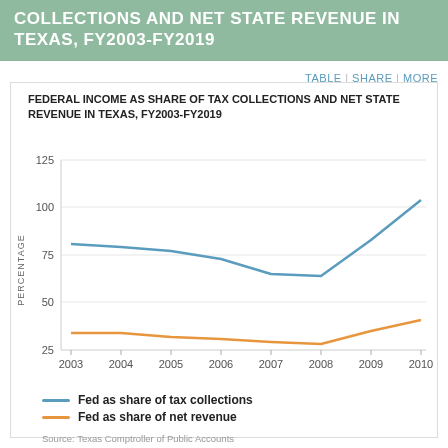COLLECTIONS AND NET STATE REVENUE IN TEXAS, FY2003-FY2019
[Figure (line-chart): FEDERAL INCOME AS SHARE OF TAX COLLECTIONS AND NET STATE REVENUE IN TEXAS, FY2003-FY2019]
— Fed as share of tax collections
— Fed as share of net revenue
Source: Texas Comptroller of Public Accounts